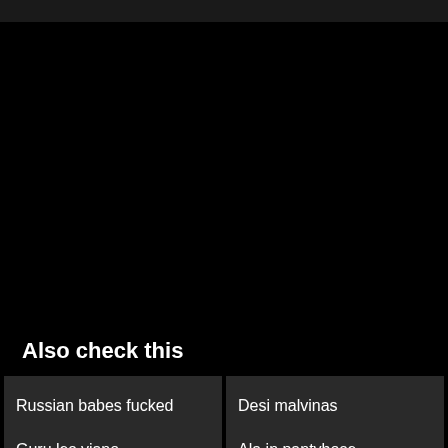[Figure (other): Large black video player area]
Also check this
Russian babes fucked
Desi malvinas
Guru les yiano
Ala in pantyhose